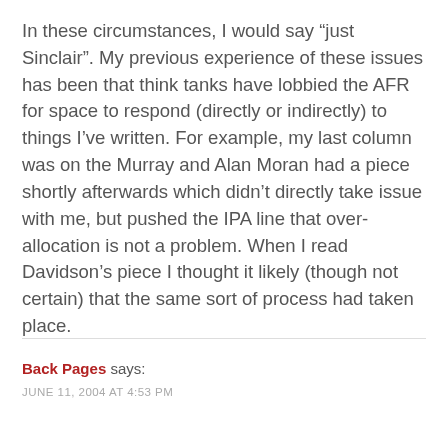In these circumstances, I would say “just Sinclair”. My previous experience of these issues has been that think tanks have lobbied the AFR for space to respond (directly or indirectly) to things I’ve written. For example, my last column was on the Murray and Alan Moran had a piece shortly afterwards which didn’t directly take issue with me, but pushed the IPA line that over-allocation is not a problem. When I read Davidson’s piece I thought it likely (though not certain) that the same sort of process had taken place.
Back Pages says:
JUNE 11, 2004 AT 4:53 PM